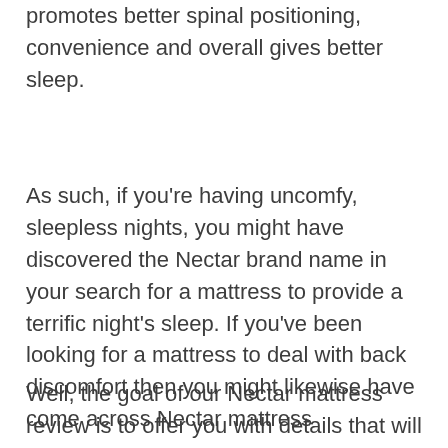promotes better spinal positioning, convenience and overall gives better sleep.
As such, if you're having uncomfy, sleepless nights, you might have discovered the Nectar brand name in your search for a mattress to provide a terrific night's sleep. If you've been looking for a mattress to deal with back discomfort then you might likewise have come across Nectar mattress
Well, the goal of our Nectar mattress review is to offer you with details that will assist you in figuring out whether the Nectar memory